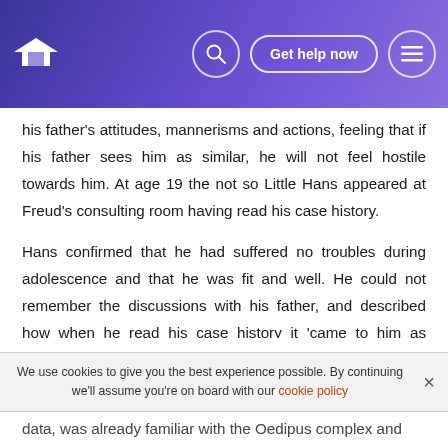Get help now
his father's attitudes, mannerisms and actions, feeling that if his father sees him as similar, he will not feel hostile towards him. At age 19 the not so Little Hans appeared at Freud's consulting room having read his case history.
Hans confirmed that he had suffered no troubles during adolescence and that he was fit and well. He could not remember the discussions with his father, and described how when he read his case history it 'came to him as something unknown' The case study of Little Hans does appear to provide support for Freud's theory of the Oedipus complex. However, there are difficulties with this type of
We use cookies to give you the best experience possible. By continuing we'll assume you're on board with our cookie policy
data, was already familiar with the Oedipus complex and